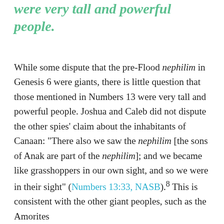were very tall and powerful people.
While some dispute that the pre-Flood nephilim in Genesis 6 were giants, there is little question that those mentioned in Numbers 13 were very tall and powerful people. Joshua and Caleb did not dispute the other spies' claim about the inhabitants of Canaan: “There also we saw the nephilim [the sons of Anak are part of the nephilim]; and we became like grasshoppers in our own sight, and so we were in their sight” (Numbers 13:33, NASB).8 This is consistent with the other giant peoples, such as the Amorites